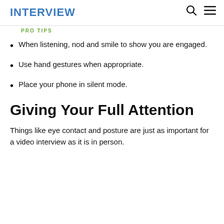INTERVIEW
PRO TIPS
When listening, nod and smile to show you are engaged.
Use hand gestures when appropriate.
Place your phone in silent mode.
Giving Your Full Attention
Things like eye contact and posture are just as important for a video interview as it is in person.